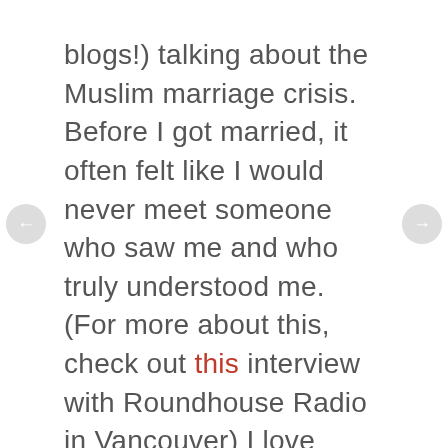blogs!) talking about the Muslim marriage crisis. Before I got married, it often felt like I would never meet someone who saw me and who truly understood me. (For more about this, check out this interview with Roundhouse Radio in Vancouver) I love blogging, I love to read and write more generally, I like paper and podcasts and libraries and studying and rainstorms and drinking Tetley tea and exploring cities and public lectures.  At the same time, I struggle with cooking, I have a temper, and I get overwhelmed in large groups.  One of the greatest gifts that marriage has given me is that it has reminded me that you just need to find one person to share your life with, and that God sends that person, it's not about you. Once you find that person marital harmony is a daily gift to pray for, be grateful for and work to preserve.